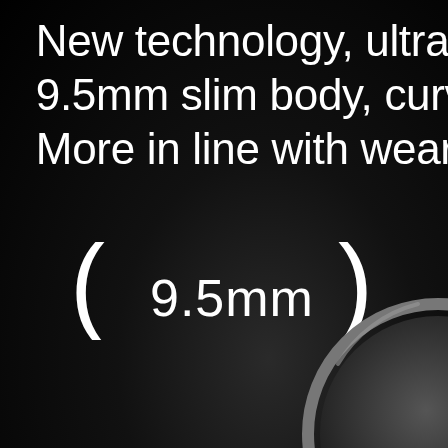New technology, ultra-t
9.5mm slim body, curve
More in line with wear n
[Figure (infographic): Measurement bracket showing 9.5mm width indicator: large parentheses with '9.5mm' text between them, on black background. Bottom right shows partial view of a smartwatch.]